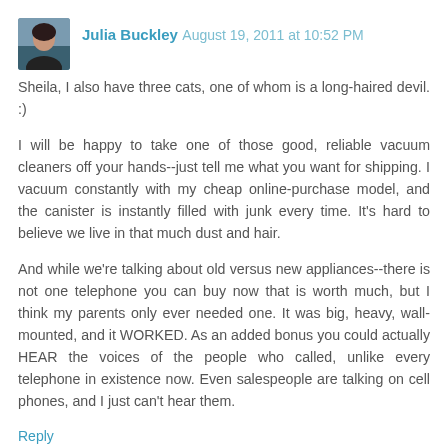[Figure (photo): Small avatar photo of Julia Buckley, a woman with dark hair]
Julia Buckley  August 19, 2011 at 10:52 PM
Sheila, I also have three cats, one of whom is a long-haired devil. :)

I will be happy to take one of those good, reliable vacuum cleaners off your hands--just tell me what you want for shipping. I vacuum constantly with my cheap online-purchase model, and the canister is instantly filled with junk every time. It's hard to believe we live in that much dust and hair.

And while we're talking about old versus new appliances--there is not one telephone you can buy now that is worth much, but I think my parents only ever needed one. It was big, heavy, wall-mounted, and it WORKED. As an added bonus you could actually HEAR the voices of the people who called, unlike every telephone in existence now. Even salespeople are talking on cell phones, and I just can't hear them.
Reply